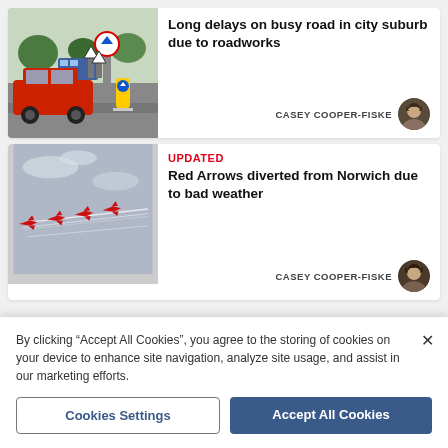[Figure (photo): Red car at a roundabout with road signs and roadworks signage]
Long delays on busy road in city suburb due to roadworks
CASEY COOPER-FISKE
[Figure (photo): Red Arrows jets flying in formation through cloudy sky]
UPDATED
Red Arrows diverted from Norwich due to bad weather
CASEY COOPER-FISKE
By clicking “Accept All Cookies”, you agree to the storing of cookies on your device to enhance site navigation, analyze site usage, and assist in our marketing efforts.
Cookies Settings
Accept All Cookies